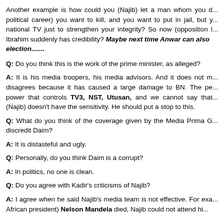Another example is how could you (Najib) let a man whom you d... political career) you want to kill, and you want to put in jail, but y... national TV just to strengthen your integrity? So now (opposition l... Ibrahim suddenly has credibility? Maybe next time Anwar can also... election.......
Q: Do you think this is the work of the prime minister, as alleged?
A: It is his media troopers, his media advisors. And it does not m... disagrees because it has caused a large damage to BN. The pe... power that controls TV3, NST, Utusan, and we cannot say that... (Najib) doesn't have the sensitivity. He should put a stop to this.
Q: What do you think of the coverage given by the Media Prima G... discredit Daim?
A: It is distasteful and ugly.
Q: Personally, do you think Daim is a corrupt?
A: In politics, no one is clean.
Q: Do you agree with Kadir's criticisms of Najib?
A: I agree when he said Najib's media team is not effective. For exa... African president) Nelson Mandela died, Najib could not attend hi...